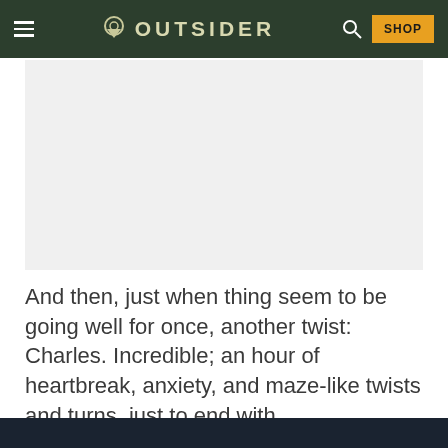OUTSIDER
[Figure (other): Gray placeholder advertisement block]
And then, just when thing seem to be going well for once, another twist: Charles. Incredible; an hour of heartbreak, anxiety, and maze-like twists and turns, just to end with